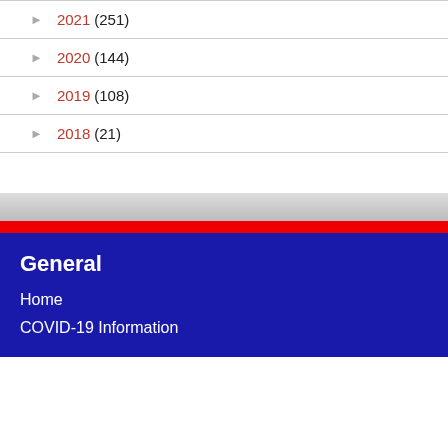2021 (251)
2020 (144)
2019 (108)
2018 (21)
General
Home
COVID-19 Information